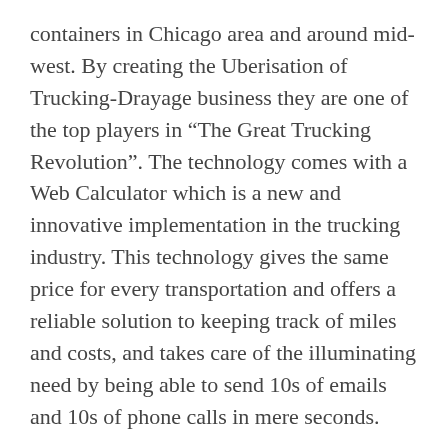containers in Chicago area and around mid-west. By creating the Uberisation of Trucking-Drayage business they are one of the top players in “The Great Trucking Revolution”. The technology comes with a Web Calculator which is a new and innovative implementation in the trucking industry. This technology gives the same price for every transportation and offers a reliable solution to keeping track of miles and costs, and takes care of the illuminating need by being able to send 10s of emails and 10s of phone calls in mere seconds.
CDL 1000 is an asset-based third-party logistics leader. A brand that offers customized options to specific needs and is doing so by meeting with customers to learn about their business before taking